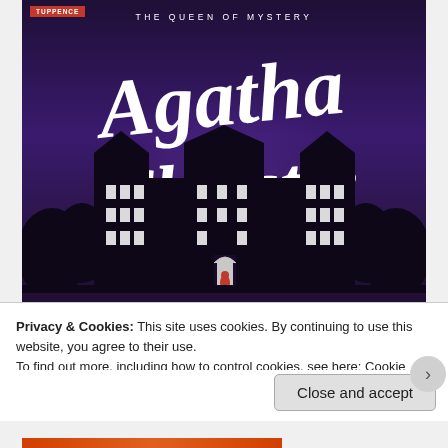[Figure (illustration): Book cover for an Agatha Christie novel on a dark purple background. Top reads 'THE QUEEN OF MYSTERY' with a 'TUPPENCE' badge. Large cursive script reads 'Agatha Christie'. A dark silhouette of a gothic mansion with lit windows is shown in the lower half. Text at the bottom reads 'BY THE'.]
Privacy & Cookies: This site uses cookies. By continuing to use this website, you agree to their use.
To find out more, including how to control cookies, see here: Cookie Policy
Close and accept